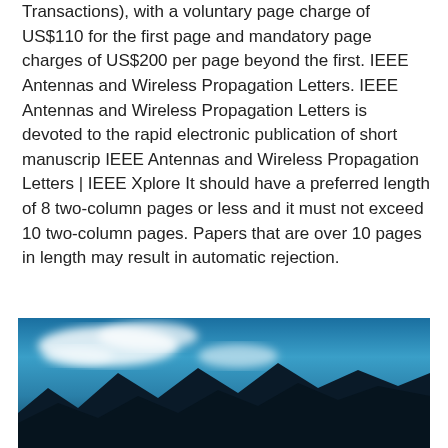Transactions), with a voluntary page charge of US$110 for the first page and mandatory page charges of US$200 per page beyond the first. IEEE Antennas and Wireless Propagation Letters. IEEE Antennas and Wireless Propagation Letters is devoted to the rapid electronic publication of short manuscrip IEEE Antennas and Wireless Propagation Letters | IEEE Xplore It should have a preferred length of 8 two-column pages or less and it must not exceed 10 two-column pages. Papers that are over 10 pages in length may result in automatic rejection.
[Figure (photo): A photograph showing a blue sky with white clouds and dark mountains or landscape silhouette at the bottom.]